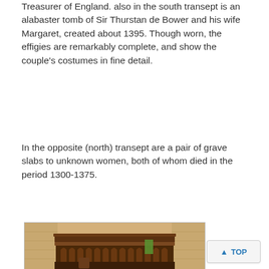Treasurer of England. also in the south transept is an alabaster tomb of Sir Thurstan de Bower and his wife Margaret, created about 1395. Though worn, the effigies are remarkably complete, and show the couple's costumes in fine detail.
In the opposite (north) transept are a pair of grave slabs to unknown women, both of whom died in the period 1300-1375.
[Figure (photo): Interior photograph of a church showing an ornate wooden rood screen with Gothic arched tracery panels beneath it, stone walls, and a vaulted ceiling visible above. A green flag or banner is visible in the background.]